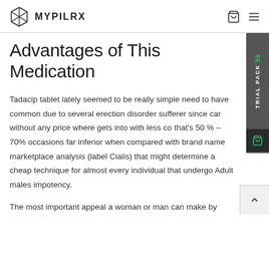MYPILRX
Advantages of This Medication
Tadacip tablet lately seemed to be really simple need to have common due to several erection disorder sufferers since car without any price where gets into with less cost that's 50 % – 70% occasions far inferior when compared with brand name marketplace analysis (label Cialis) that might determine a cheap technique for almost every individual that undergo Adult males impotency.
The most important appeal a woman or man can make by